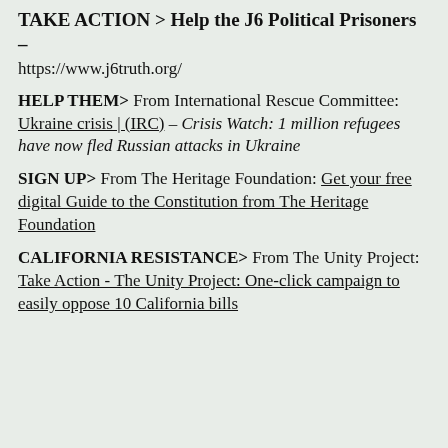TAKE ACTION > Help the J6 Political Prisoners –
https://www.j6truth.org/
HELP THEM> From International Rescue Committee: Ukraine crisis | (IRC) – Crisis Watch: 1 million refugees have now fled Russian attacks in Ukraine
SIGN UP> From The Heritage Foundation: Get your free digital Guide to the Constitution from The Heritage Foundation
CALIFORNIA RESISTANCE> From The Unity Project: Take Action - The Unity Project: One-click campaign to easily oppose 10 California bills...